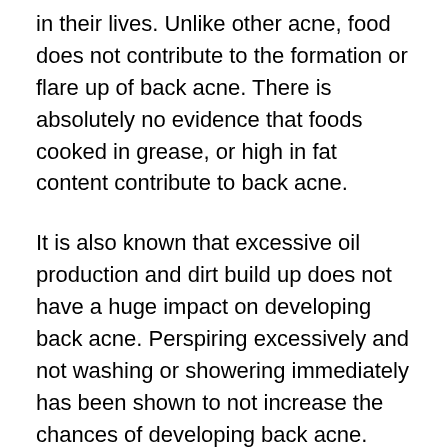in their lives. Unlike other acne, food does not contribute to the formation or flare up of back acne. There is absolutely no evidence that foods cooked in grease, or high in fat content contribute to back acne.
It is also known that excessive oil production and dirt build up does not have a huge impact on developing back acne. Perspiring excessively and not washing or showering immediately has been shown to not increase the chances of developing back acne. Back acne also does not seem to be affected by stress. There are some who think that facial acne is increased due to stress. However stress can cause back acne to not heal. Oftentimes, stress causes people to pick and bother the pimples, which make the condition worse.